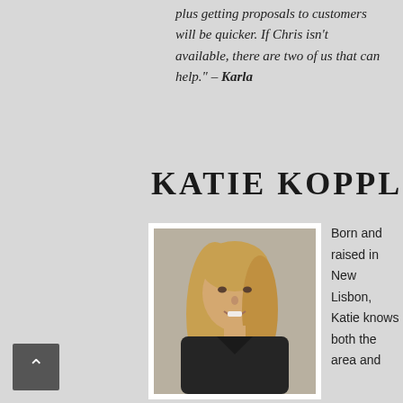plus getting proposals to customers will be quicker. If Chris isn't available, there are two of us that can help." – Karla
KATIE KOPPLIN
[Figure (photo): Professional headshot of Katie Kopplin, a woman with long blonde hair wearing a dark jacket, smiling, against a neutral background.]
Born and raised in New Lisbon, Katie knows both the area and